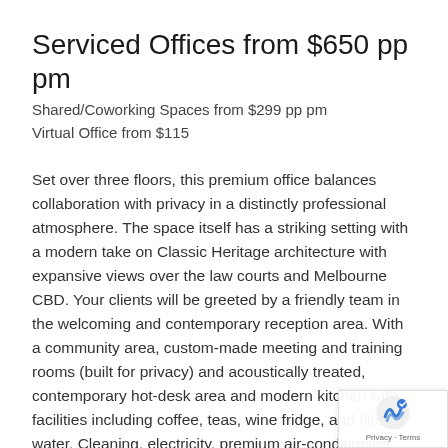Serviced Offices from $650 pp pm
Shared/Coworking Spaces from $299 pp pm
Virtual Office from $115
Set over three floors, this premium office balances collaboration with privacy in a distinctly professional atmosphere. The space itself has a striking setting with a modern take on Classic Heritage architecture with expansive views over the law courts and Melbourne CBD. Your clients will be greeted by a friendly team in the welcoming and contemporary reception area. With a community area, custom-made meeting and training rooms (built for privacy) and acoustically treated, contemporary hot-desk area and modern kitchen with facilities including coffee, teas, wine fridge, and filtered water. Cleaning, electricity, premium air-conditioning outgoings are also all included. A premium serviced for all professionals or legal businesses.